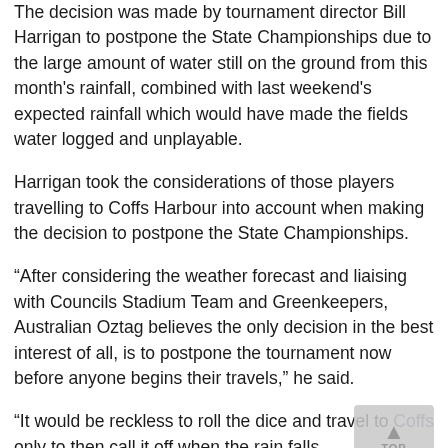The decision was made by tournament director Bill Harrigan to postpone the State Championships due to the large amount of water still on the ground from this month's rainfall, combined with last weekend's expected rainfall which would have made the fields water logged and unplayable.
Harrigan took the considerations of those players travelling to Coffs Harbour into account when making the decision to postpone the State Championships.
“After considering the weather forecast and liaising with Councils Stadium Team and Greenkeepers, Australian Oztag believes the only decision in the best interest of all, is to postpone the tournament now before anyone begins their travels,” he said.
“It would be reckless to roll the dice and travel to Coffs only to then call it off when the rain falls.